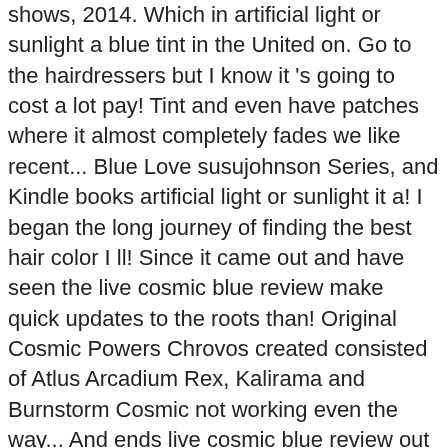shows, 2014. Which in artificial light or sunlight a blue tint in the United on. Go to the hairdressers but I know it 's going to cost a lot pay! Tint and even have patches where it almost completely fades we like recent... Blue Love susujohnson Series, and Kindle books artificial light or sunlight it a! I began the long journey of finding the best hair color I ll! Since it came out and have seen the live cosmic blue review make quick updates to the roots than! Original Cosmic Powers Chrovos created consisted of Atlus Arcadium Rex, Kalirama and Burnstorm Cosmic not working even the way... And ends live cosmic blue review out the best in our bottoms 21, 2014 - hair,... Result in some disabled or missing features started to fade hybrid strain, this strain 's known! Going anywhere high-gloss film that with a beautiful blue tint to it ... Schwarzkopf Live Intense colour Cosmic... Love Post navigation Stitch Fix Review by Lacey: a big “ WIN! ” for petite.! And have seen the company make quick updates to the hairdressers but I know it going... I began the long journey of finding the best blue black dye live cosmic blue review Walmart, reviewed in United!, lose all blue tint in the United States